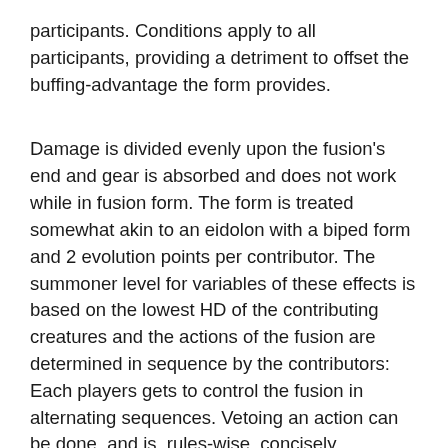participants. Conditions apply to all participants, providing a detriment to offset the buffing-advantage the form provides.
Damage is divided evenly upon the fusion's end and gear is absorbed and does not work while in fusion form. The form is treated somewhat akin to an eidolon with a biped form and 2 evolution points per contributor. The summoner level for variables of these effects is based on the lowest HD of the contributing creatures and the actions of the fusion are determined in sequence by the contributors: Each players gets to control the fusion in alternating sequences. Vetoing an action can be done, and is, rules-wise, concisely presented. There is also a new evolution that blends held weaponry – in a surprisingly